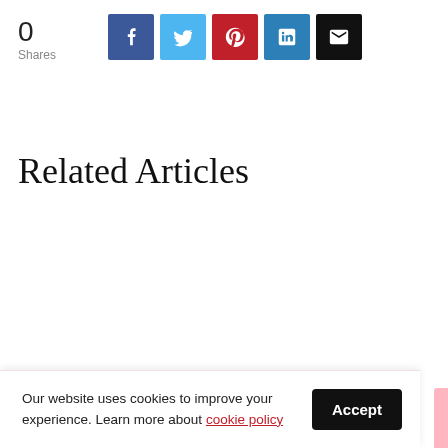0
Shares
[Figure (infographic): Social share buttons: Facebook (blue), Twitter (light blue), Pinterest (red), LinkedIn (teal), Email (black)]
Related Articles
Our website uses cookies to improve your experience. Learn more about cookie policy
Accept